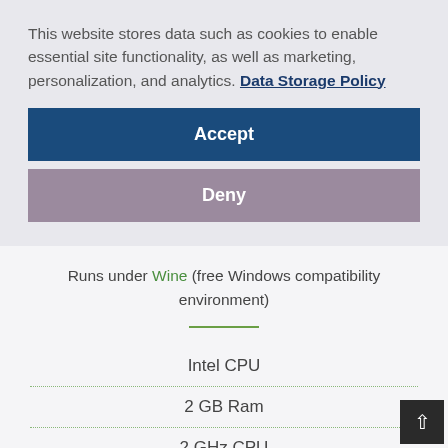This website stores data such as cookies to enable essential site functionality, as well as marketing, personalization, and analytics. Data Storage Policy
Accept
Deny
Runs under Wine (free Windows compatibility environment)
Intel CPU
2 GB Ram
2 GHz CPU
1GB Disc Space